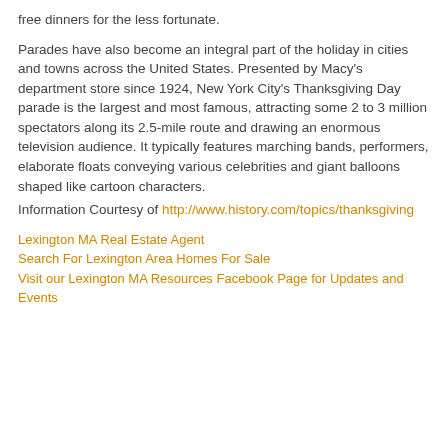free dinners for the less fortunate.
Parades have also become an integral part of the holiday in cities and towns across the United States. Presented by Macy's department store since 1924, New York City's Thanksgiving Day parade is the largest and most famous, attracting some 2 to 3 million spectators along its 2.5-mile route and drawing an enormous television audience. It typically features marching bands, performers, elaborate floats conveying various celebrities and giant balloons shaped like cartoon characters.
Information Courtesy of http://www.history.com/topics/thanksgiving
Lexington MA Real Estate Agent
Search For Lexington Area Homes For Sale
Visit our Lexington MA Resources Facebook Page for Updates and Events